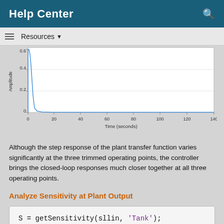Help Center
Resources
[Figure (continuous-plot): Step response plot showing Amplitude (y-axis, 0 to ~0.6+) vs Time in seconds (x-axis, 0 to 140). A sharp spike near t=0 rapidly decays to near zero and stays flat across the time range.]
Although the step response of the plant transfer function varies significantly at the three trimmed operating points, the controller brings the closed-loop responses much closer together at all three operating points.
Analyze Sensitivity at Plant Output
S = getSensitivity(sllin, 'Tank');
The software injects a disturbance signal and measures the output at the plant output. S is a 1 x 3 array of continuous-time